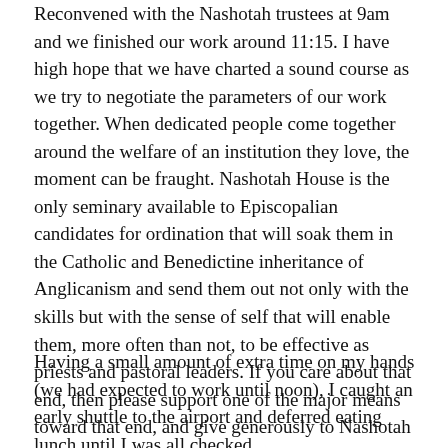Reconvened with the Nashotah trustees at 9am and we finished our work around 11:15. I have high hope that we have charted a sound course as we try to negotiate the parameters of our work together. When dedicated people come together around the welfare of an institution they love, the moment can be fraught. Nashotah House is the only seminary available to Episcopalian candidates for ordination that will soak them in the Catholic and Benedictine inheritance of Anglicanism and send them out not only with the skills but with the sense of self that will enable them, more often than not, to be effective as priests and pastoral leaders. If you care about that end, then please support one of the major means toward that end, and give generously to Nashotah House.
Having a small amount of extra time on my hands (we had expected to work until noon), I caught an early shuttle to the airport and deferred eating lunch until I was all checked